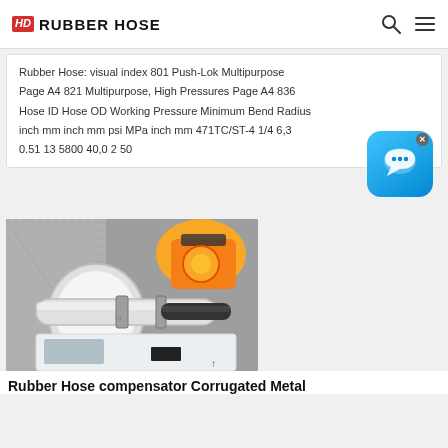HD RUBBER HOSE
Rubber Hose: visual index 801 Push-Lok Multipurpose Page A4 821 Multipurpose, High Pressures Page A4 836 Hose ID Hose OD Working Pressure Minimum Bend Radius inch mm inch mm psi MPa inch mm 471TC/ST-4 1/4 6,3 0.51 13 5800 40,0 2 50
[Figure (photo): Industrial rubber hose connected to machinery with white pipe, metal flanges, and yellow pump equipment in background]
Rubber Hose compensator Corrugated Metal